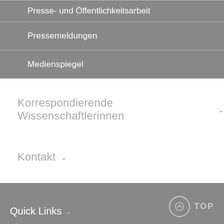Presse- und Öffentlichkeitsarbeit
Pressemeldungen
Medienspiegel
Korrespondierende Wissenschaftlerinnen
Kontakt
Originalveröffentlichung
Quick Links  TOP